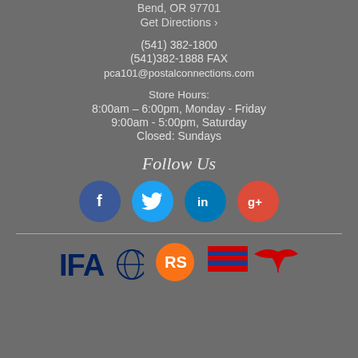Bend, OR 97701
Get Directions ›
(541) 382-1800
(541)382-1888 FAX
pca101@postalconnections.com
Store Hours:
8:00am – 6:00pm, Monday - Friday
9:00am - 5:00pm, Saturday
Closed: Sundays
Follow Us
[Figure (infographic): Four social media icon circles: Facebook (blue), Twitter (light blue), LinkedIn (blue), Google+ (red/orange)]
[Figure (logo): IFA logo, RadioShack logo, and an American flag/eagle logo at the bottom of the page]